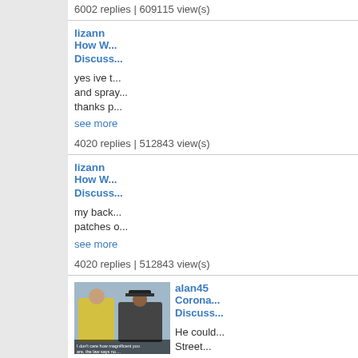6002 replies | 609115 view(s)
lizann
How W... Discuss...
yes ive t... and spray... thanks p...
see more
4020 replies | 512843 view(s)
lizann
How W... Discuss...
my back... patches o...
see more
4020 replies | 512843 view(s)
[Figure (photo): Small thumbnail image of two people, one in a yellow jacket and one in dark clothing, with caption text below]
alan45
Corona... Discuss...
He could... Street...